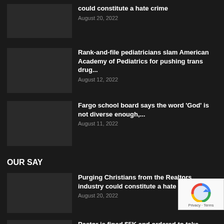could constitute a hate crime
August 20, 2022
Rank-and-file pediatricians slam American Academy of Pediatrics for pushing trans drug...
August 12, 2022
Fargo school board says the word 'God' is not diverse enough,...
August 11, 2022
OUR SAY
Purging Christians from the Realtors industry could constitute a hate crime
August 20, 2022
Pastor is fined $5K and ordered to take LGBT